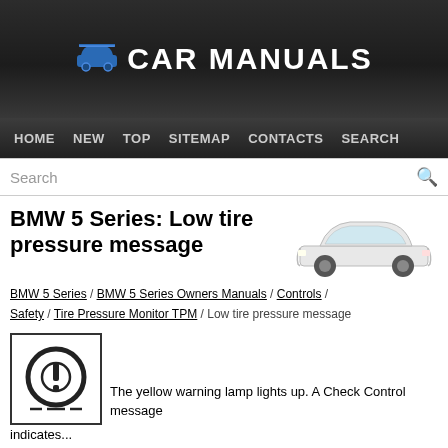Car Manuals
HOME  NEW  TOP  SITEMAP  CONTACTS  SEARCH
Search
BMW 5 Series: Low tire pressure message
BMW 5 Series / BMW 5 Series Owners Manuals / Controls / Safety / Tire Pressure Monitor TPM / Low tire pressure message
[Figure (illustration): Tire pressure warning lamp icon — a cross-section of a tire with an exclamation mark, inside a square border]
The yellow warning lamp lights up. A Check Control message indicates...